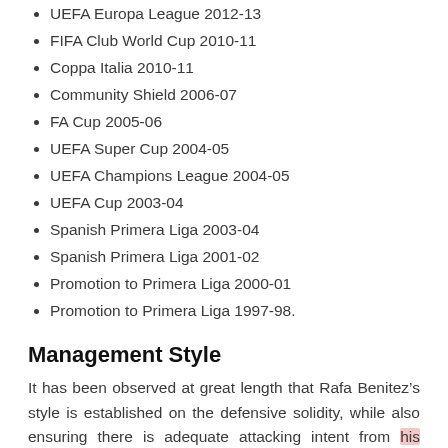UEFA Europa League 2012-13
FIFA Club World Cup 2010-11
Coppa Italia 2010-11
Community Shield 2006-07
FA Cup 2005-06
UEFA Super Cup 2004-05
UEFA Champions League 2004-05
UEFA Cup 2003-04
Spanish Primera Liga 2003-04
Spanish Primera Liga 2001-02
Promotion to Primera Liga 2000-01
Promotion to Primera Liga 1997-98.
Management Style
It has been observed at great length that Rafa Benitez’s style is established on the defensive solidity, while also ensuring there is adequate attacking intent from his forward players. Because he normally set up his formation and tactics, some football pundits have described the former Liverpool and UEFA Champions League Winner as a manager who is normally harder on his players than other managers. To some pundits